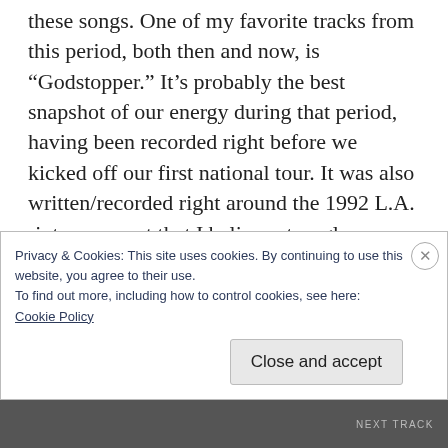these songs. One of my favorite tracks from this period, both then and now, is “Godstopper.” It’s probably the best snapshot of our energy during that period, having been recorded right before we kicked off our first national tour. It was also written/recorded right around the 1992 L.A. riots, an event that I believe strongly reverberated in our music at the time. Plus “Godstopper” was one of our first recordings in Tom Grimley’s Poop Alley–Tom’s influence on our recordings can’t be
Privacy & Cookies: This site uses cookies. By continuing to use this website, you agree to their use.
To find out more, including how to control cookies, see here:
Cookie Policy
Close and accept